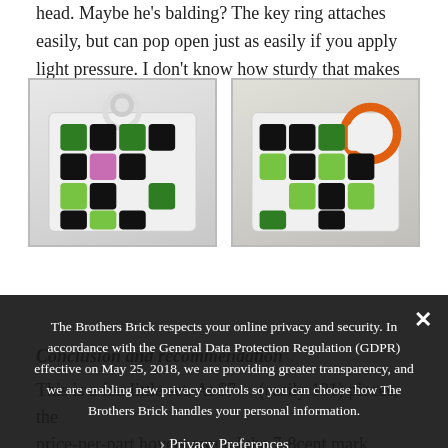head. Maybe he's balding? The key ring attaches easily, but can pop open just as easily if you apply light pressure. I don't know how sturdy that makes it for actual bag-tagging.
[Figure (photo): Two photos side by side of a LEGO Rubik's Cube-style keychain toy. Left photo shows a white cube with colorful green, black, white, and pink tiles with a white key ring on top. Right photo shows a similar cube with an orange key ring attached.]
The Brothers Brick respects your online privacy and security. In accordance with the General Data Protection Regulation (GDPR) effective on May 25, 2018, we are providing greater transparency, and we are enabling new privacy controls so you can choose how The Brothers Brick handles your personal information.
Privacy Preferences
I Agree
Conclusion and recommendations:
This is a fun little set. At $7 (easily 101) pieces, the price-per-part hovers around the 7-8cent mark. Even though the